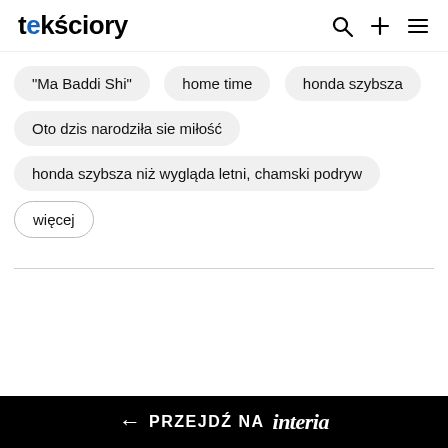tekściory
"Ma Baddi Shi"
home time
honda szybsza
Oto dzis narodziła sie miłość
honda szybsza niż wygląda letni, chamski podryw
więcej
← PRZEJDŹ NA interia